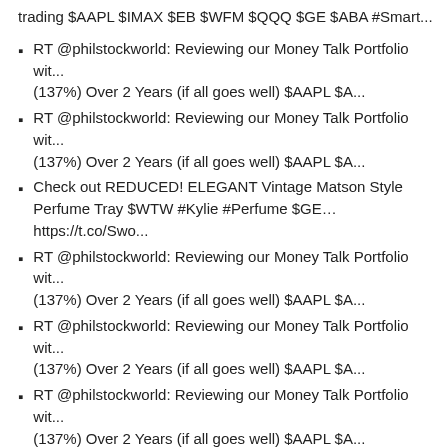trading $AAPL $IMAX $EB $WFM $QQQ $GE $ABA #Smart...
RT @philstockworld: Reviewing our Money Talk Portfolio wit... (137%) Over 2 Years (if all goes well) $AAPL $A...
RT @philstockworld: Reviewing our Money Talk Portfolio wit... (137%) Over 2 Years (if all goes well) $AAPL $A...
Check out REDUCED! ELEGANT Vintage Matson Style Perfume Tray $WTW #Kylie #Perfume $GE... https://t.co/Swo...
RT @philstockworld: Reviewing our Money Talk Portfolio wit... (137%) Over 2 Years (if all goes well) $AAPL $A...
RT @philstockworld: Reviewing our Money Talk Portfolio wit... (137%) Over 2 Years (if all goes well) $AAPL $A...
RT @philstockworld: Reviewing our Money Talk Portfolio wit... (137%) Over 2 Years (if all goes well) $AAPL $A...
RT @philstockworld: Reviewing our Money Talk Portfolio wit... (137%) Over 2 Years (if all goes well) $AAPL $A...
RT @philstockworld: Reviewing our Money Talk Portfolio wit...